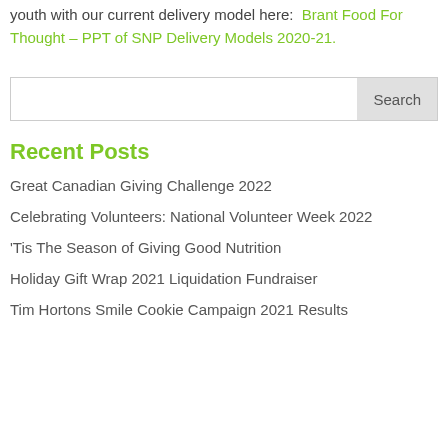youth with our current delivery model here: Brant Food For Thought – PPT of SNP Delivery Models 2020-21.
[Figure (other): Search input box with Search button]
Recent Posts
Great Canadian Giving Challenge 2022
Celebrating Volunteers: National Volunteer Week 2022
'Tis The Season of Giving Good Nutrition
Holiday Gift Wrap 2021 Liquidation Fundraiser
Tim Hortons Smile Cookie Campaign 2021 Results